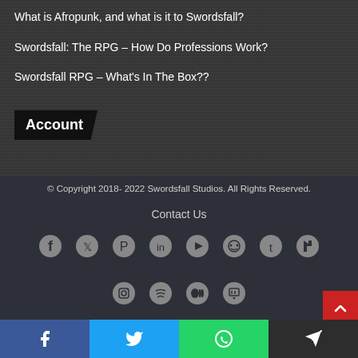What is Afropunk, and what is it to Swordsfall?
Swordsfall: The RPG – How Do Professions Work?
Swordsfall RPG – What’s In The Box??
Account
© Copyright 2018- 2022 Swordsfall Studios. All Rights Reserved.
Contact Us
[Figure (infographic): Social media icons row 1: Facebook, Twitter, Pinterest, LinkedIn, YouTube, Reddit, Tumblr, DeviantArt]
[Figure (infographic): Social media icons row 2: Instagram, Spotify, Medium, Twitch]
[Figure (infographic): Share bar at bottom: Facebook (blue), Twitter (cyan), WhatsApp (green), Telegram (dark)]